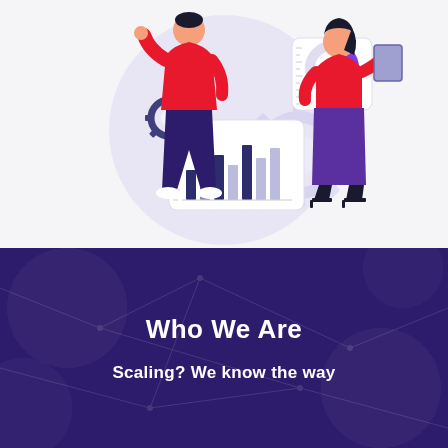[Figure (illustration): Two illustrated figures analyzing data dashboards. A person in a red top and dark purple pants pointing at a board showing a bar chart and gear icon. Another figure in a red top and purple skirt holding a tablet. Background shows a light purple circle with gear elements and a donut chart card.]
Who We Are
Scaling? We know the way